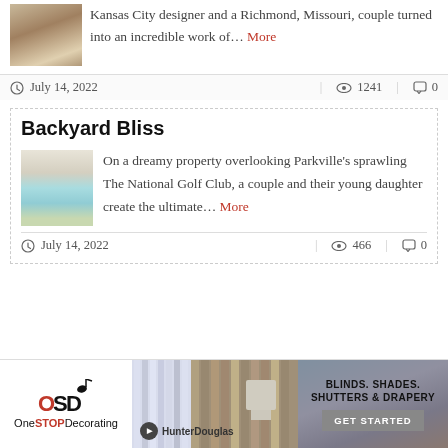Kansas City designer and a Richmond, Missouri, couple turned into an incredible work of... More
July 14, 2022   1241   0
Backyard Bliss
[Figure (photo): Outdoor pool area overlooking a golf club property]
On a dreamy property overlooking Parkville's sprawling The National Golf Club, a couple and their young daughter create the ultimate... More
July 14, 2022   466   0
[Figure (other): Advertisement for One Stop Decorating featuring Hunter Douglas blinds, shades, shutters & drapery with GET STARTED button]